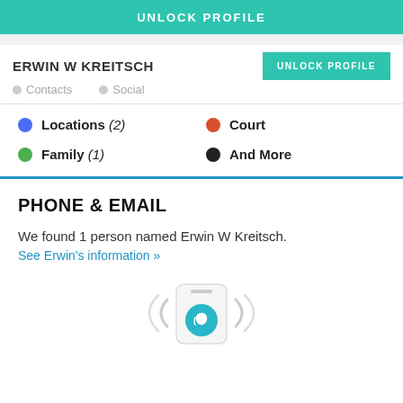UNLOCK PROFILE
ERWIN W KREITSCH
Contacts   Social
UNLOCK PROFILE
Locations (2)
Court
Family (1)
And More
PHONE & EMAIL
We found 1 person named Erwin W Kreitsch.
See Erwin's information »
[Figure (illustration): Phone icon with call symbol, signal waves on either side indicating ringing]